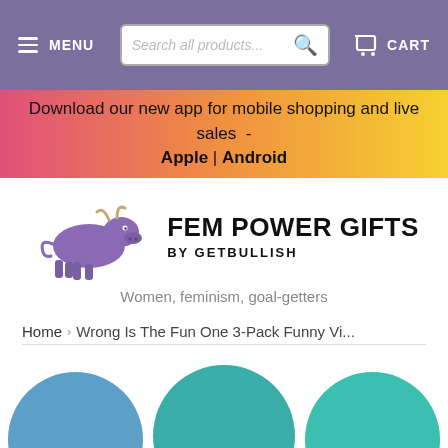MENU | Search all products... | CART
Download our new app for mobile shopping and live sales - Apple | Android
[Figure (logo): Fem Power Gifts by Getbullish logo: purple bull illustration with bold black text FEM POWER GIFTS BY GETBULLISH]
Women, feminism, goal-getters
Home › Wrong Is The Fun One 3-Pack Funny Vi...
[Figure (photo): Three circular product images partially visible at the bottom: blue circle with text NG:, teal circle, and green circle with text Y:]